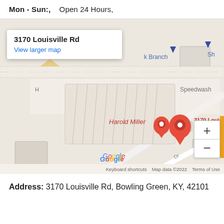Mon - Sun:,   Open 24 Hours,
[Figure (map): Google Maps screenshot showing 3170 Louisville Rd, Bowling Green, KY with a red map pin marker labeled '3170 Louisville Rd, Bowling Green...' and a smaller marker labeled 'Harold Miller'. Map shows nearby streets and buildings. Includes zoom controls (+/-), Google logo, 'Keyboard shortcuts', 'Map data ©2022', and 'Terms of Use' labels.]
Address: 3170 Louisville Rd, Bowling Green, KY, 42101